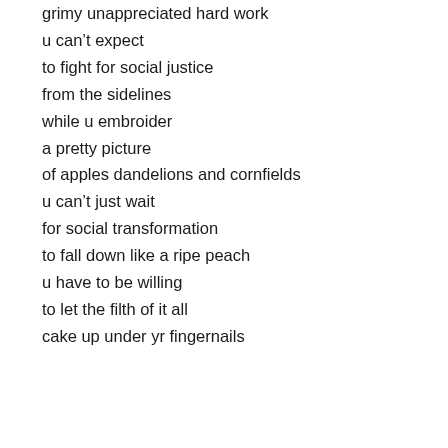grimy unappreciated hard work
u can't expect
to fight for social justice
from the sidelines
while u embroider
a pretty picture
of apples dandelions and cornfields
u can't just wait
for social transformation
to fall down like a ripe peach
u have to be willing
to let the filth of it all
cake up under yr fingernails